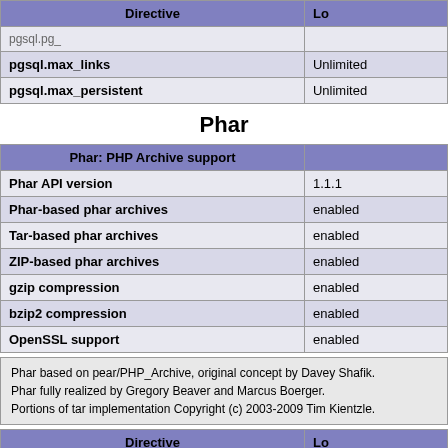| Directive | Lo |
| --- | --- |
| pgsql.pg_ |  |
| pgsql.max_links | Unlimited |
| pgsql.max_persistent | Unlimited |
Phar
| Phar: PHP Archive support |  |
| --- | --- |
| Phar API version | 1.1.1 |
| Phar-based phar archives | enabled |
| Tar-based phar archives | enabled |
| ZIP-based phar archives | enabled |
| gzip compression | enabled |
| bzip2 compression | enabled |
| OpenSSL support | enabled |
Phar based on pear/PHP_Archive, original concept by Davey Shafik.
Phar fully realized by Gregory Beaver and Marcus Boerger.
Portions of tar implementation Copyright (c) 2003-2009 Tim Kientzle.
| Directive | Lo |
| --- | --- |
| phar.cache_list | no value |